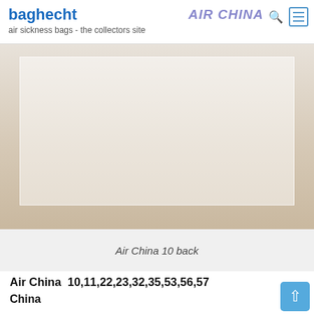baghecht — air sickness bags - the collectors site | AIR CHINA
[Figure (photo): Air China air sickness bag - back view, shown against a beige/tan background. The bag appears as a white paper bag.]
Air China 10 back
Air China  10,11,22,23,32,35,53,56,57
China
10:
paper
pointy bottom
tear off strip
peel off sticky strip
straight cut